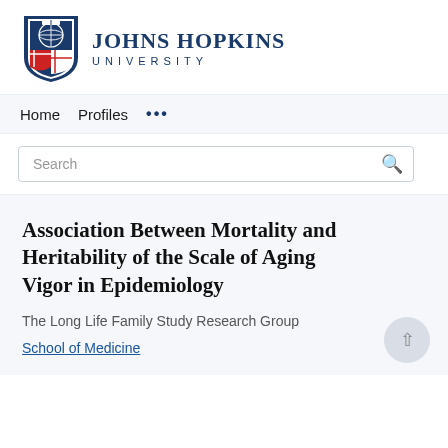[Figure (logo): Johns Hopkins University logo with shield and wordmark]
Home   Profiles   ...
Search
Association Between Mortality and Heritability of the Scale of Aging Vigor in Epidemiology
The Long Life Family Study Research Group
School of Medicine